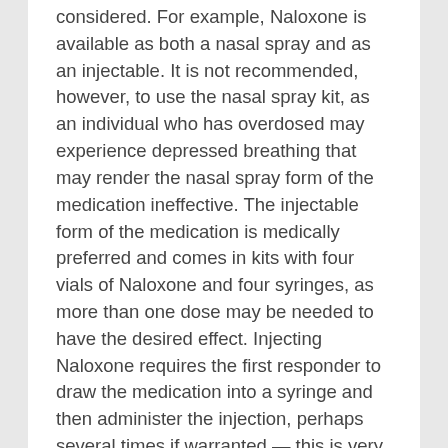considered. For example, Naloxone is available as both a nasal spray and as an injectable. It is not recommended, however, to use the nasal spray kit, as an individual who has overdosed may experience depressed breathing that may render the nasal spray form of the medication ineffective. The injectable form of the medication is medically preferred and comes in kits with four vials of Naloxone and four syringes, as more than one dose may be needed to have the desired effect. Injecting Naloxone requires the first responder to draw the medication into a syringe and then administer the injection, perhaps several times if warranted — this is very different from using an EpiPen auto-injector to administer epinephrine.